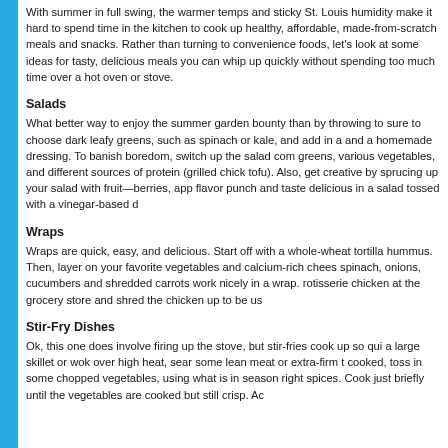With summer in full swing, the warmer temps and sticky St. Louis humidity make it hard to spend time in the kitchen to cook up healthy, affordable, made-from-scratch meals and snacks. Rather than turning to convenience foods, let's look at some ideas for tasty, delicious meals you can whip up quickly without spending too much time over a hot oven or stove.
Salads
What better way to enjoy the summer garden bounty than by throwing together a fresh salad! Be sure to choose dark leafy greens, such as spinach or kale, and add in a handful of colorful veggies and a homemade dressing. To banish boredom, switch up the salad components by varying your greens, various vegetables, and different sources of protein (grilled chicken, hard-boiled eggs, beans, tofu). Also, get creative by sprucing up your salad with fruit—berries, apples, and citrus add a great flavor punch and taste delicious in a salad tossed with a vinegar-based d...
Wraps
Wraps are quick, easy, and delicious. Start off with a whole-wheat tortilla spread with guacamole or hummus. Then, layer on your favorite vegetables and calcium-rich cheese. Bell peppers, tomatoes, spinach, onions, cucumbers and shredded carrots work nicely in a wrap. You can also pick up a rotisserie chicken at the grocery store and shred the chicken up to be us...
Stir-Fry Dishes
Ok, this one does involve firing up the stove, but stir-fries cook up so quickly! Simply heat up a large skillet or wok over high heat, sear some lean meat or extra-firm tofu until nicely cooked, toss in some chopped vegetables, using what is in season right now, and add some spices. Cook just briefly until the vegetables are cooked but still crisp. Ac...